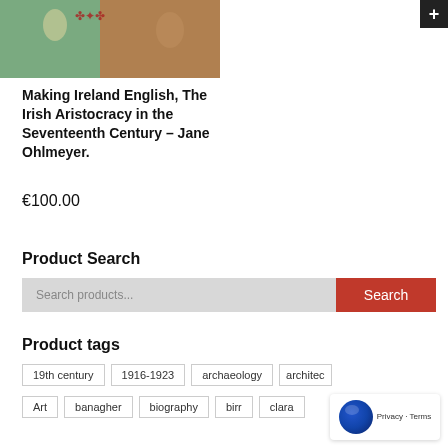[Figure (photo): Book cover image showing a period painting with figures in historical costume]
Making Ireland English, The Irish Aristocracy in the Seventeenth Century – Jane Ohlmeyer.
€100.00
Product Search
Search products...
Product tags
19th century
1916-1923
archaeology
architec
Art
banagher
biography
birr
clara